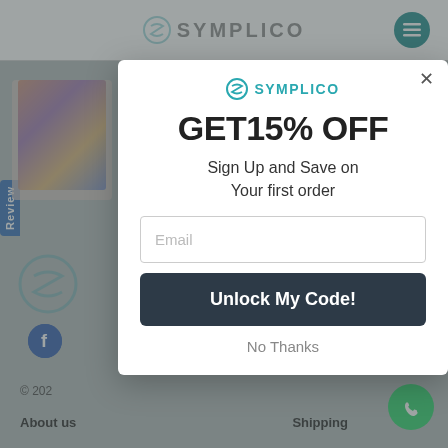[Figure (screenshot): Background of Symplico website showing header with logo, review tab, product image area, Facebook icon, copyright text, About us and Shipping links]
[Figure (screenshot): Modal popup dialog with Symplico branding showing a 15% off discount offer, email input field, Unlock My Code button, and No Thanks link]
GET15% OFF
Sign Up and Save on Your first order
Email
Unlock My Code!
No Thanks